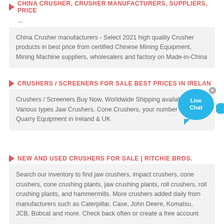CHINA CRUSHER, CRUSHER MANUFACTURERS, SUPPLIERS, PRICE ...
China Crusher manufacturers - Select 2021 high quality Crusher products in best price from certified Chinese Mining Equipment, Mining Machine suppliers, wholesalers and factory on Made-in-China
CRUSHERS / SCREENERS FOR SALE BEST PRICES IN IRELAND
Crushers / Screeners Buy Now, Worldwide Shipping available, Various types Jaw Crushers, Cone Crushers, your number one for Quarry Equipment in Ireland & UK
NEW AND USED CRUSHERS FOR SALE | RITCHIE BROS.
Search our inventory to find jaw crushers, impact crushers, cone crushers, cone crushing plants, jaw crushing plants, roll crushers, roll crushing plants, and hammermills. More crushers added daily from manufacturers such as Caterpillar, Case, John Deere, Komatsu, JCB, Bobcat and more. Check back often or create a free account